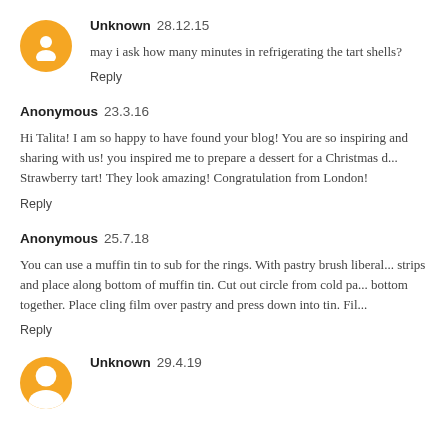Unknown  28.12.15
may i ask how many minutes in refrigerating the tart shells?
Reply
Anonymous  23.3.16
Hi Talita! I am so happy to have found your blog! You are so inspiring and sharing with us! you inspired me to prepare a dessert for a Christmas d... Strawberry tart! They look amazing! Congratulation from London!
Reply
Anonymous  25.7.18
You can use a muffin tin to sub for the rings. With pastry brush liberal... strips and place along bottom of muffin tin. Cut out circle from cold pas... bottom together. Place cling film over pastry and press down into tin. Fil...
Reply
Unknown  29.4.19